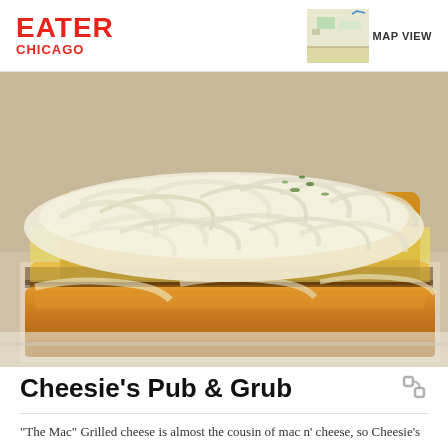EATER CHICAGO
MAP VIEW
[Figure (photo): Close-up photograph of a grilled cheese sandwich with shredded white cheese on top of toasted golden-brown bread, served on white paper wrapper]
Cheesie's Pub & Grub
"The Mac" Grilled cheese is almost the cousin of mac n' cheese, so Cheesie's